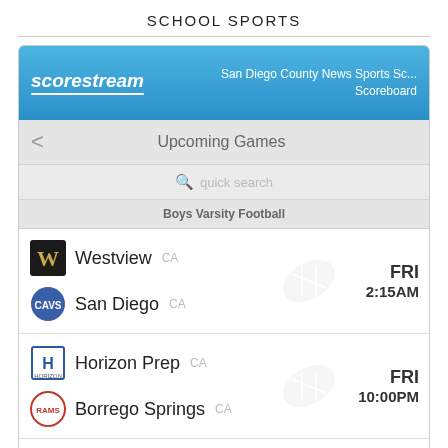SCHOOL SPORTS
[Figure (screenshot): Scorestream app showing San Diego County News Sports Scoreboard with Upcoming Games list for Boys Varsity Football. Three game entries visible: Westview CA vs San Diego CA (FRI 2:15AM), Horizon Prep CA vs Borrego Springs CA (FRI 10:00PM), and Santa Fe Christian CA (FRI, time cut off).]